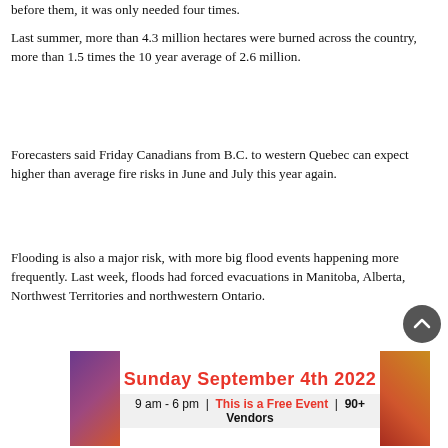before them, it was only needed four times.
Last summer, more than 4.3 million hectares were burned across the country, more than 1.5 times the 10 year average of 2.6 million.
Forecasters said Friday Canadians from B.C. to western Quebec can expect higher than average fire risks in June and July this year again.
Flooding is also a major risk, with more big flood events happening more frequently. Last week, floods had forced evacuations in Manitoba, Alberta, Northwest Territories and northwestern Ontario.
[Figure (infographic): Advertisement banner for 'Sunday September 4th 2022' event, 9 am - 6 pm, This is a Free Event, 90+ Vendors, on dark background with orange and purple food/vegetable decorations on sides.]